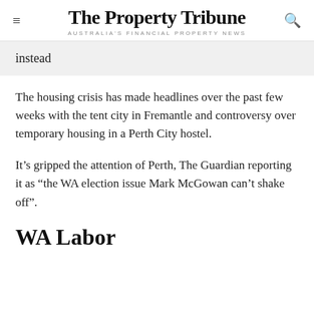The Property Tribune
AUSTRALIA'S FINANCIAL PROPERTY NEWS
instead
The housing crisis has made headlines over the past few weeks with the tent city in Fremantle and controversy over temporary housing in a Perth City hostel.
It’s gripped the attention of Perth, The Guardian reporting it as “the WA election issue Mark McGowan can’t shake off”.
WA Labor